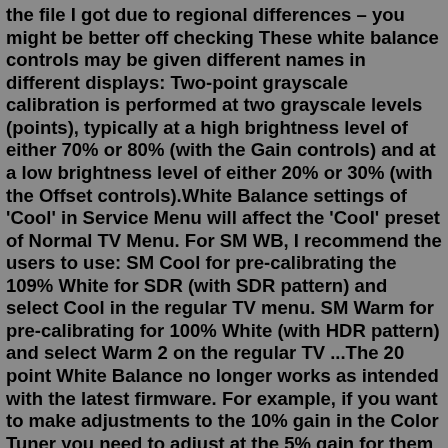the file I got due to regional differences – you might be better off checking These white balance controls may be given different names in different displays: Two-point grayscale calibration is performed at two grayscale levels (points), typically at a high brightness level of either 70% or 80% (with the Gain controls) and at a low brightness level of either 20% or 30% (with the Offset controls).White Balance settings of 'Cool' in Service Menu will affect the 'Cool' preset of Normal TV Menu. For SM WB, I recommend the users to use: SM Cool for pre-calibrating the 109% White for SDR (with SDR pattern) and select Cool in the regular TV menu. SM Warm for pre-calibrating for 100% White (with HDR pattern) and select Warm 2 on the regular TV ...The 20 point White Balance no longer works as intended with the latest firmware. For example, if you want to make adjustments to the 10% gain in the Color Tuner you need to adjust at the 5% gain for them to stick at 10% and so on and so forth up to about 25%.We recommend the Lightdow 12 x 12″ White Balance 18% Gray Reference